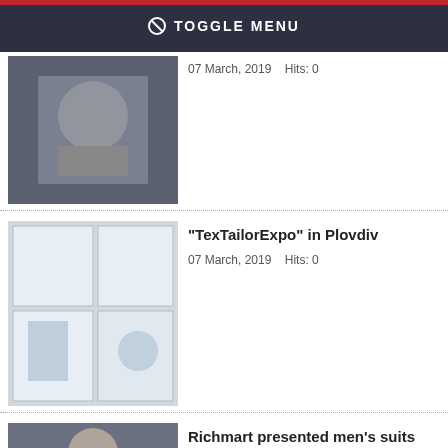⊘ TOGGLE MENU
07 March, 2019    Hits: 0
"TexTailorExpo" in Plovdiv
07 March, 2019    Hits: 0
Richmart presented men's suits with Bulgarian embroidery with unique dancing show at Sofia Fashion Week 2015
23 September, 2015    Hits: 759
Richmart dresses foreigners in men's suit jackets with Bulgarian embroidery
13 August, 2015    Hits: 1081